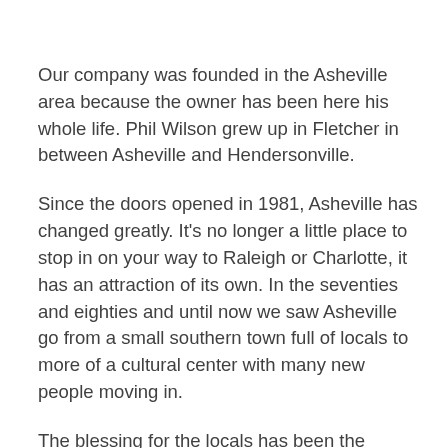Our company was founded in the Asheville area because the owner has been here his whole life.  Phil Wilson grew up in Fletcher in between Asheville and Hendersonville.
Since the doors opened in 1981, Asheville has changed greatly.  It’s no longer a little place to stop in on your way to Raleigh or Charlotte, it has an attraction of its own.  In the seventies and eighties and until now we saw Asheville go from a small southern town full of locals to more of a cultural center with many new people moving in.
The blessing for the locals has been the opportunities this has brought with it.  Phil probably never expected his company to grow like it did by just servicing his customers who were also growing but the need was there.  WNC is a beautiful place to live and anyone who calls it home should feel blessed.  Although the continued development is